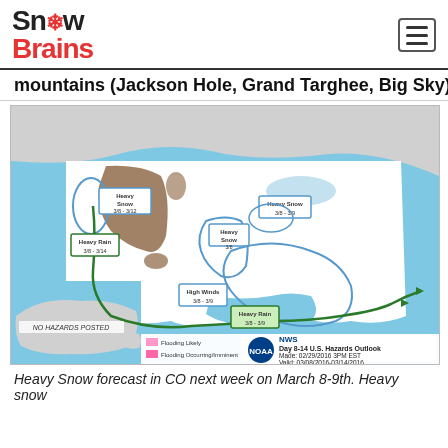SnowBrains
mountains (Jackson Hole, Grand Targhee, Big Sky).
[Figure (map): NWS Day 8-14 U.S. Hazards Outlook map showing weather hazards across the United States. Made: 02/29/2016 3PM EST, Valid: 03/08/2016-03/14/2016. Shows Heavy Snow regions (3/8-3/12, 3/8-3/9, 3/8), Heavy Rain areas (3/8-3/14, 3/8-3/9), High Winds (3/8-3/9), Flooding Likely, Flooding Occurring/Imminent, Flooding Possible, and Severe Drought areas. Alaska labeled NO HAZARDS POSTED.]
Heavy Snow forecast in CO next week on March 8-9th. Heavy snow